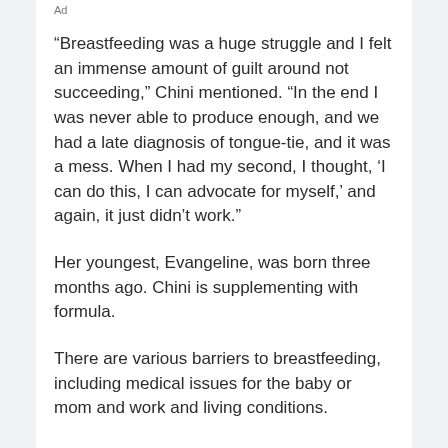Ad
“Breastfeeding was a huge struggle and I felt an immense amount of guilt around not succeeding,” Chini mentioned. “In the end I was never able to produce enough, and we had a late diagnosis of tongue-tie, and it was a mess. When I had my second, I thought, ‘I can do this, I can advocate for myself,’ and again, it just didn’t work.”
Her youngest, Evangeline, was born three months ago. Chini is supplementing with formula.
There are various barriers to breastfeeding, including medical issues for the baby or mom and work and living conditions.